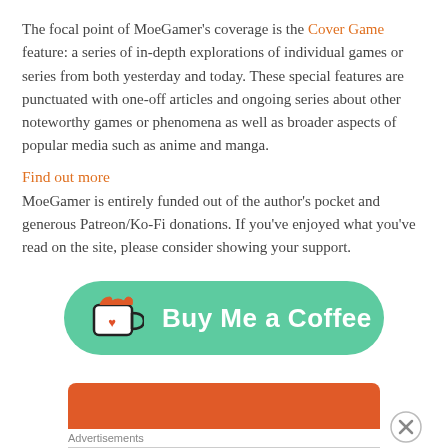The focal point of MoeGamer's coverage is the Cover Game feature: a series of in-depth explorations of individual games or series from both yesterday and today. These special features are punctuated with one-off articles and ongoing series about other noteworthy games or phenomena as well as broader aspects of popular media such as anime and manga.
Find out more
MoeGamer is entirely funded out of the author's pocket and generous Patreon/Ko-Fi donations. If you've enjoyed what you've read on the site, please consider showing your support.
[Figure (illustration): Buy Me a Coffee green button with coffee cup icon containing a heart]
[Figure (illustration): Orange bar/banner at bottom, partially visible, with a close X button]
Advertisements
[Figure (illustration): Bloomingdales advertisement banner: 'View Today's Top Deals!' with woman in hat image and SHOP NOW button]